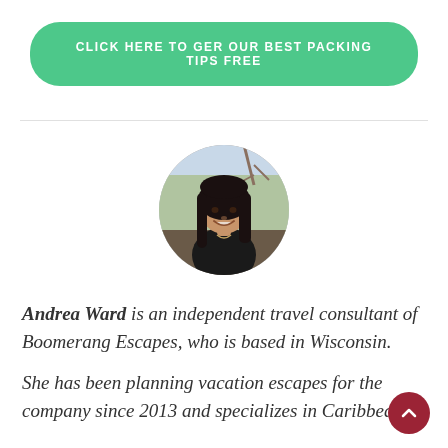CLICK HERE TO GER OUR BEST PACKING TIPS FREE
[Figure (photo): Circular portrait photo of Andrea Ward, a woman with long dark hair, smiling outdoors]
Andrea Ward is an independent travel consultant of Boomerang Escapes, who is based in Wisconsin.
She has been planning vacation escapes for the company since 2013 and specializes in Caribbean